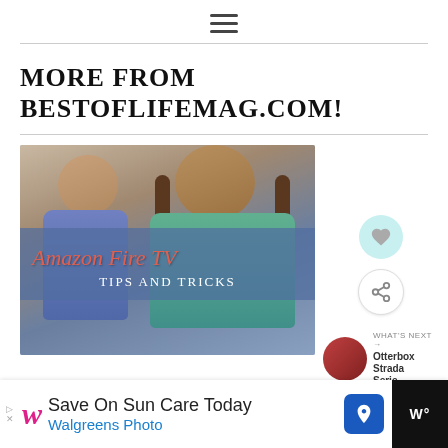≡ (hamburger menu icon)
MORE FROM BESTOFLIFEMAG.COM!
[Figure (photo): Two children (a boy and a girl) sitting together, with an overlaid graphic reading 'Amazon Fire TV Tips and Tricks' in coral/red italic script on a semi-transparent blue banner]
[Figure (other): Sidebar icons: heart/like button (teal circle), share button (white circle with share icon), and a 'What's Next' thumbnail showing 'Otterbox Strada Serie...' with a small circular image]
[Figure (other): Advertisement bar: Walgreens Photo ad reading 'Save On Sun Care Today' with Walgreens cursive logo, a blue navigation icon, and a dark right panel]